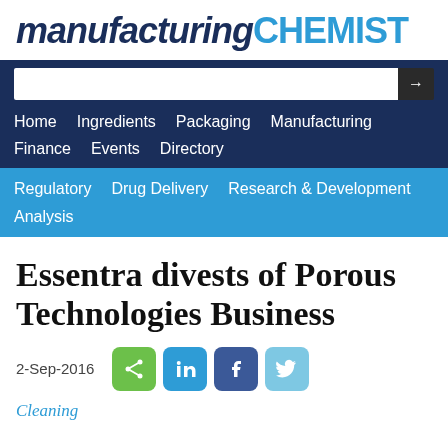[Figure (logo): manufacturing CHEMIST logo - 'manufacturing' in dark navy bold italic, 'CHEMIST' in bold blue]
Home  Ingredients  Packaging  Manufacturing  Finance  Events  Directory  Regulatory  Drug Delivery  Research & Development  Analysis
Essentra divests of Porous Technologies Business
2-Sep-2016
Cleaning